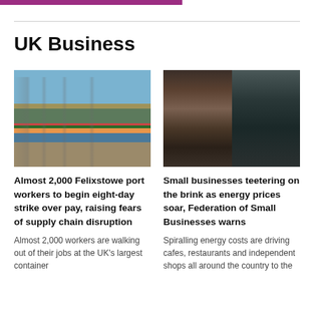UK Business
[Figure (photo): Aerial view of Felixstowe container port with colourful shipping containers and cranes]
Almost 2,000 Felixstowe port workers to begin eight-day strike over pay, raising fears of supply chain disruption
Almost 2,000 workers are walking out of their jobs at the UK's largest container
[Figure (photo): Person working in a small business kitchen or cafe]
Small businesses teetering on the brink as energy prices soar, Federation of Small Businesses warns
Spiralling energy costs are driving cafes, restaurants and independent shops all around the country to the